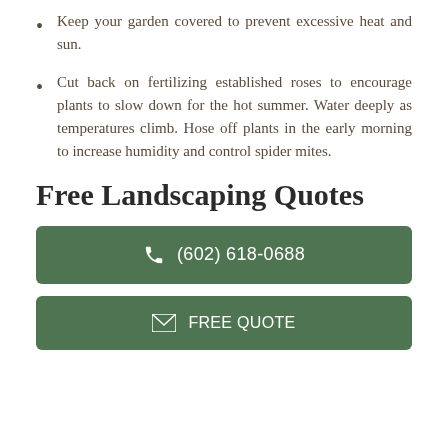Keep your garden covered to prevent excessive heat and sun.
Cut back on fertilizing established roses to encourage plants to slow down for the hot summer. Water deeply as temperatures climb. Hose off plants in the early morning to increase humidity and control spider mites.
Free Landscaping Quotes
(602) 618-0688
FREE QUOTE